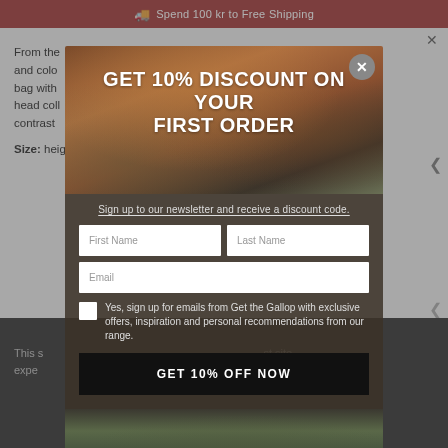Spend 100 kr to Free Shipping
From the... cute and colo... e your bag with... orse's head coll... contrast...
Size: heig...
[Figure (screenshot): Modal popup overlay on e-commerce product page with leather equestrian goods image background]
GET 10% DISCOUNT ON YOUR FIRST ORDER
Sign up to our newsletter and receive a discount code.
First Name
Last Name
Email
Yes, sign up for emails from Get the Gallop with exclusive offers, inspiration and personal recommendations from our range.
GET 10% OFF NOW
This s... st site expe... u are